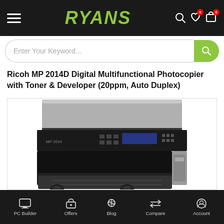RYANS
Enter Your Keyword...
Ricoh MP 2014D Digital Multifunctional Photocopier with Toner & Developer (20ppm, Auto Duplex)
[Figure (photo): Ricoh MP 2014D Digital Multifunctional Photocopier - front/top view showing the document feeder lid, control panel with display, and paper trays in black and silver/grey finish]
PC Builder | Offers | Blog | Compare | Account